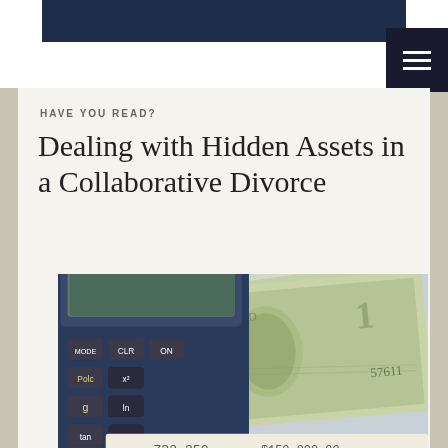HAVE YOU READ?
Dealing with Hidden Assets in a Collaborative Divorce
[Figure (photo): A calculator with scientific functions next to folded US dollar bills, with a document showing numbers including 732.350 and $150,000.00]